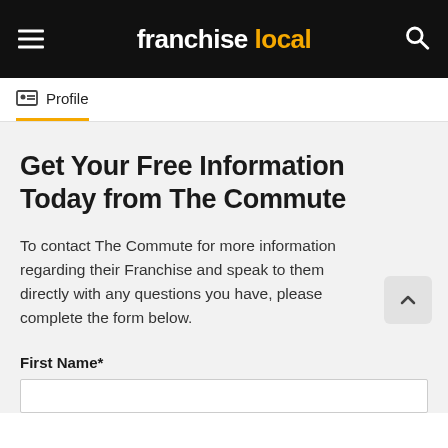franchise local
Profile
Get Your Free Information Today from The Commute
To contact The Commute for more information regarding their Franchise and speak to them directly with any questions you have, please complete the form below.
First Name*